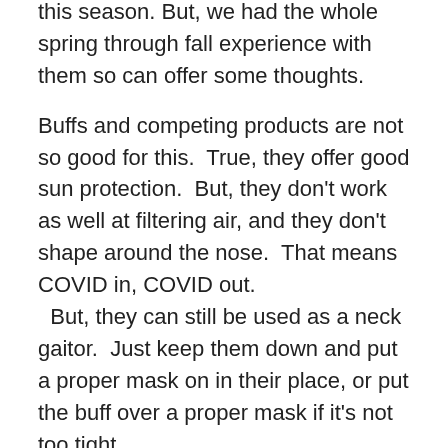this season. But, we had the whole spring through fall experience with them so can offer some thoughts.
Buffs and competing products are not so good for this. True, they offer good sun protection. But, they don't work as well at filtering air, and they don't shape around the nose. That means COVID in, COVID out. But, they can still be used as a neck gaitor. Just keep them down and put a proper mask on in their place, or put the buff over a proper mask if it's not too tight.
Surgical masks: in our humble opinion, they suck! They are ill fitting and only good for blocking direct spray. They usually leave gaps on the cheeks and around the nose.